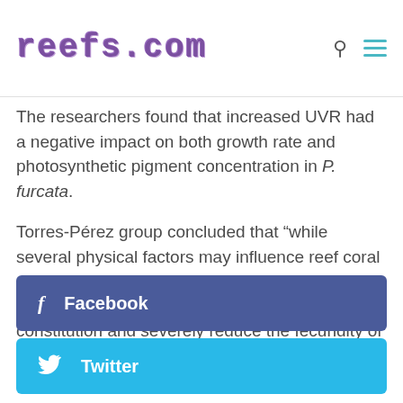reefs.com
The researchers found that increased UVR had a negative impact on both growth rate and photosynthetic pigment concentration in P. furcata.
Torres-Pérez group concluded that “while several physical factors may influence reef coral physiology, the results suggest that slight increases in UVR can debilitate the skeletal constitution and severely reduce the fecundity of corals living in shallow waters.”
Facebook
Twitter